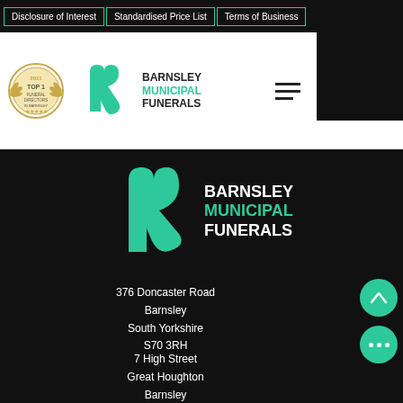Disclosure of Interest | Standardised Price List | Terms of Business
[Figure (logo): Award badge - Top 1 Funeral Directors in Barnsley 2021]
[Figure (logo): Barnsley Municipal Funerals heart logo (small, header)]
BARNSLEY MUNICIPAL FUNERALS
[Figure (logo): Barnsley Municipal Funerals heart logo (large, dark background)]
BARNSLEY MUNICIPAL FUNERALS
376 Doncaster Road
Barnsley
South Yorkshire
S70 3RH
7 High Street
Great Houghton
Barnsley
South Yorkshire